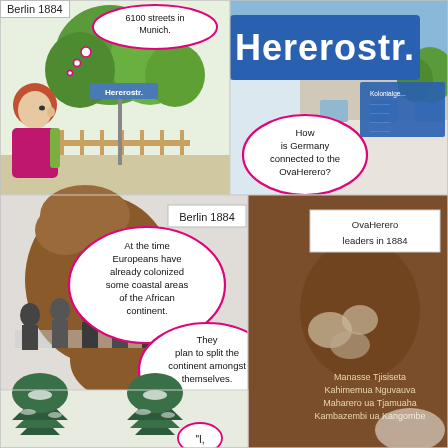[Figure (illustration): Comic/graphic novel style page showing: top-left panel with a woman looking at a street sign 'Hererostr.' among trees; top-right showing a close-up of the blue street sign 'Hererostr.' with 'Kolonialge...' text; middle panel showing Berlin 1884 with African continent silhouette and figures gathered around a table; bottom-right brown panel with OvaHerero leaders names; bottom pine trees panel with speech bubble starting 'I,']
6100 streets in Munich.
How is Germany connected to the OvaHerero?
In 1884 Bismarck, the chancellor of the German Empire invites US and European representatives to Berlin.
Berlin 1884
At the time Europeans have already colonized some coastal areas of the African continent.
They plan to split the continent amongst themselves.
OvaHerero leaders in 1884
Manasse Tjisiseta
Kahimemua Nguvauva
Maharero ua Tjamuaha
Kambazembi ua Kangombe
"I,